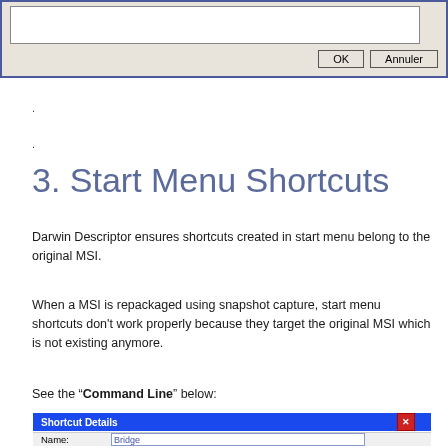[Figure (screenshot): Top portion of a Windows dialog box showing a text area and OK / Annuler buttons on a beige/gray background with blue border]
.
.
3. Start Menu Shortcuts
Darwin Descriptor ensures shortcuts created in start menu belong to the original MSI.
When a MSI is repackaged using snapshot capture, start menu shortcuts don't work properly because they target the original MSI which is not existing anymore.
See the “Command Line” below:
[Figure (screenshot): Shortcut Details dialog window with blue title bar showing 'Shortcut Details' and a close X button, and a Name field containing 'Bridge']